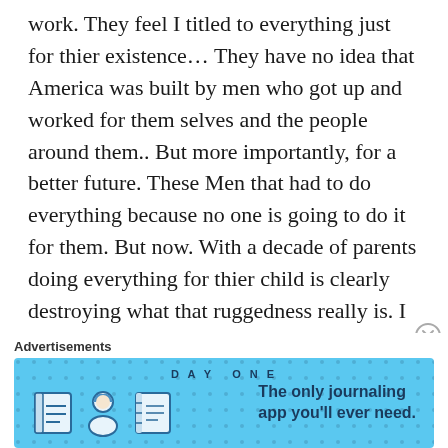work. They feel I titled to everything just for thier existence… They have no idea that America was built by men who got up and worked for them selves and the people around them.. But more importantly, for a better future. These Men that had to do everything because no one is going to do it for them. But now. With a decade of parents doing everything for thier child is clearly destroying what that ruggedness really is. I am a builder. I gets guys left and right
Advertisements
[Figure (infographic): DAY ONE journaling app advertisement banner with light blue background, app icons, and tagline 'The only journaling app you'll ever need.']